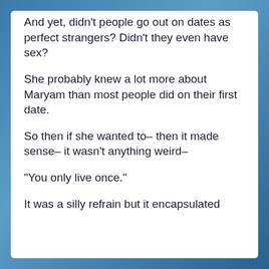And yet, didn't people go out on dates as perfect strangers? Didn't they even have sex?
She probably knew a lot more about Maryam than most people did on their first date.
So then if she wanted to– then it made sense– it wasn't anything weird–
“You only live once.”
It was a silly refrain but it encapsulated